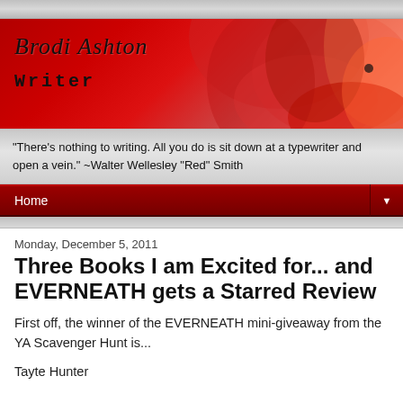[Figure (illustration): Blog header banner with 'Brodi Ashton writer' text on a red background with flower petals]
"There's nothing to writing. All you do is sit down at a typewriter and open a vein." ~Walter Wellesley "Red" Smith
Home
Monday, December 5, 2011
Three Books I am Excited for... and EVERNEATH gets a Starred Review
First off, the winner of the EVERNEATH mini-giveaway from the YA Scavenger Hunt is...
Tayte Hunter